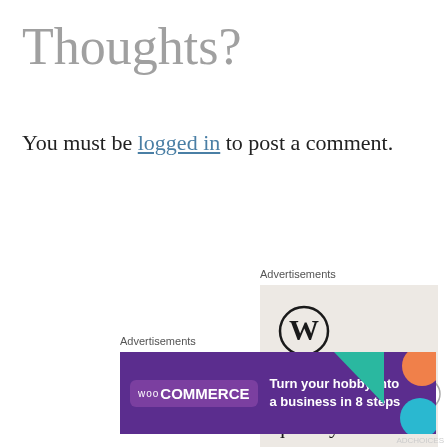Thoughts?
You must be logged in to post a comment.
Advertisements
[Figure (illustration): WordPress ad banner with WordPress 'W' logo at top left and text 'Need a website quickly...' at the bottom on a beige background]
[Figure (illustration): WooCommerce banner ad on purple background with teal, orange, and blue geometric shapes. Text reads 'Turn your hobby into a business in 8 steps']
Advertisements